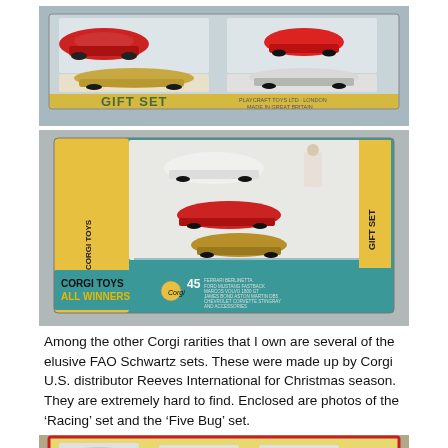[Figure (photo): Photo of a vintage toy car gift set box with four model cars inside, labeled 'GIFT SET', made by Playcraft Toys Ltd, London, Made in Great Britain. The box has a blue and yellow color scheme.]
[Figure (photo): Photo of a Corgi Toys 'All Winners Gift Set 45' box in teal/turquoise and yellow, containing multiple model cars including Ferrari, Ford Mustang Fastback, Marcos Volvo, James Bond Aston Martin, Chevrolet Corvette Stingray and accessories.]
Among the other Corgi rarities that I own are several of the elusive FAO Schwartz sets. These were made up by Corgi U.S. distributor Reeves International for Christmas season. They are extremely hard to find. Enclosed are photos of the ‘Racing’ set and the ‘Five Bug’ set.
[Figure (photo): Partial photo of another Corgi toy set box visible at the bottom of the page, with yellow and red accents, showing model cars inside.]